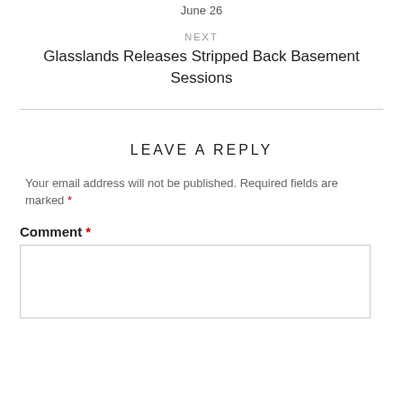June 26
NEXT
Glasslands Releases Stripped Back Basement Sessions
LEAVE A REPLY
Your email address will not be published. Required fields are marked *
Comment *